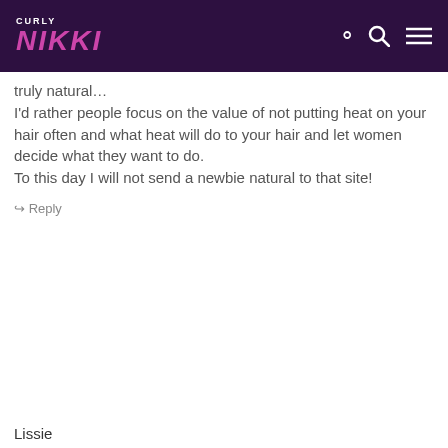CURLY NIKKI
truly natural…
I'd rather people focus on the value of not putting heat on your hair often and what heat will do to your hair and let women decide what they want to do.
To this day I will not send a newbie natural to that site!
↵ Reply
Lissie